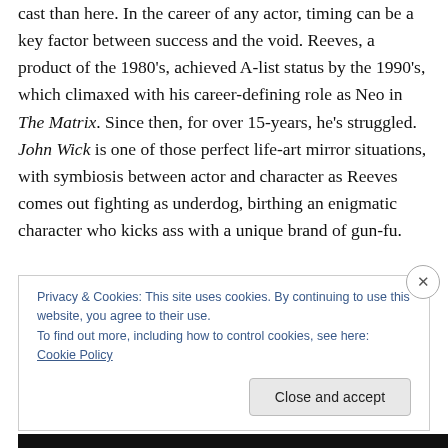cast than here. In the career of any actor, timing can be a key factor between success and the void. Reeves, a product of the 1980's, achieved A-list status by the 1990's, which climaxed with his career-defining role as Neo in The Matrix. Since then, for over 15-years, he's struggled. John Wick is one of those perfect life-art mirror situations, with symbiosis between actor and character as Reeves comes out fighting as underdog, birthing an enigmatic character who kicks ass with a unique brand of gun-fu.

It's hard to pick fault with a film that works as effectively as
Privacy & Cookies: This site uses cookies. By continuing to use this website, you agree to their use.
To find out more, including how to control cookies, see here: Cookie Policy
Close and accept